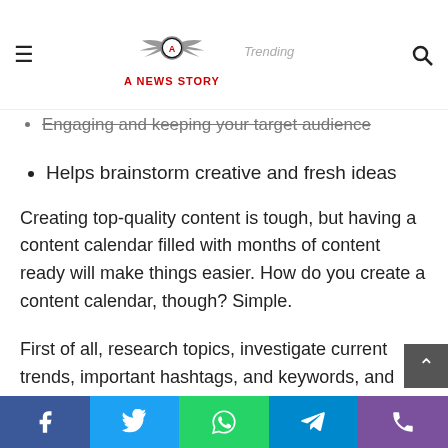A NEWS STORY — Trending
Engaging and keeping your target audience
Helps brainstorm creative and fresh ideas
Creating top-quality content is tough, but having a content calendar filled with months of content ready will make things easier. How do you create a content calendar, though? Simple.
First of all, research topics, investigate current trends, important hashtags, and keywords, and keep an eye on influencers. Next, brainstorm some content ideas by thinking of headlines and images and asking whether the content you want to post will help you reach your marketing objective. A lastly, make sure your content is completely original and